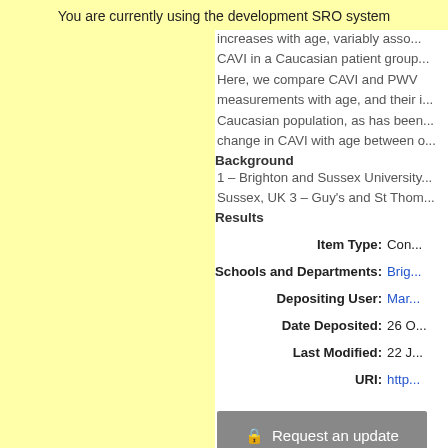You are currently using the development SRO system
increases with age, variably asso... CAVI in a Caucasian patient group... Here, we compare CAVI and PWV measurements with age, and their i... Caucasian population, as has bee... change in CAVI with age between o...
Background
1 – Brighton and Sussex University... Sussex, UK 3 – Guy's and St Thom...
Results
| Label | Value |
| --- | --- |
| Item Type: | Con... |
| Schools and Departments: | Brig... |
| Depositing User: | Mar... |
| Date Deposited: | 26 O... |
| Last Modified: | 22 J... |
| URI: | http... |
🔒 Request an update